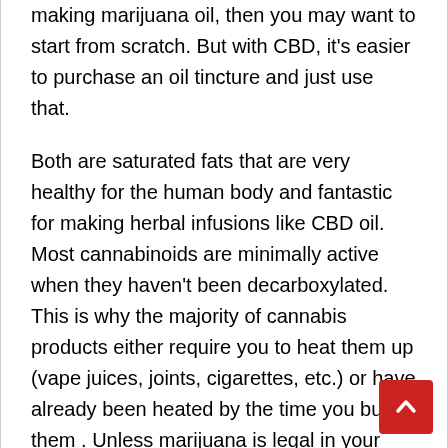making marijuana oil, then you may want to start from scratch. But with CBD, it's easier to purchase an oil tincture and just use that.
Both are saturated fats that are very healthy for the human body and fantastic for making herbal infusions like CBD oil. Most cannabinoids are minimally active when they haven't been decarboxylated. This is why the majority of cannabis products either require you to heat them up (vape juices, joints, cigarettes, etc.) or have already been heated by the time you buy them . Unless marijuana is legal in your state, you'll probably want to source your CBD from hemp flowers. CBD Clary Sage EO – Clary Sage is a commonly used oil with an earthy, herbaceous, floral and slightly fruity aroma. It is very calming and used in conjunction with other